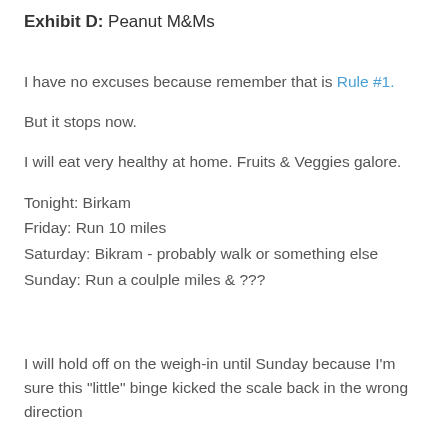Exhibit D: Peanut M&Ms
I have no excuses because remember that is Rule #1.
But it stops now.
I will eat very healthy at home. Fruits & Veggies galore.
Tonight: Birkam
Friday: Run 10 miles
Saturday: Bikram - probably walk or something else
Sunday: Run a coulple miles & ???
I will hold off on the weigh-in until Sunday because I'm sure this "little" binge kicked the scale back in the wrong direction